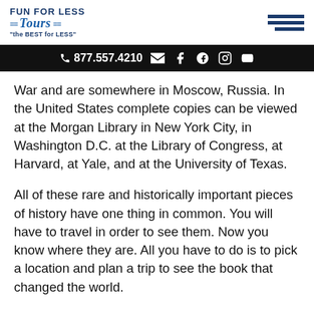FUN FOR LESS Tours "the BEST for LESS"
877.557.4210 (contact bar with phone and social icons)
War and are somewhere in Moscow, Russia. In the United States complete copies can be viewed at the Morgan Library in New York City, in Washington D.C. at the Library of Congress, at Harvard, at Yale, and at the University of Texas.
All of these rare and historically important pieces of history have one thing in common. You will have to travel in order to see them. Now you know where they are. All you have to do is to pick a location and plan a trip to see the book that changed the world.